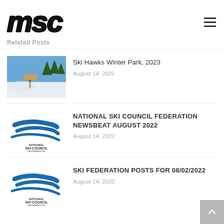MSC logo and navigation
Related Posts
[Figure (photo): Snowy ski slope with sign and trees under blue sky]
Ski Hawks Winter Park, 2023
August 14, 2022
[Figure (logo): National Ski Council Federation logo with blue swoosh design]
NATIONAL SKI COUNCIL FEDERATION NEWSBEAT AUGUST 2022
August 14, 2022
[Figure (logo): National Ski Council Federation logo with blue swoosh design]
SKI FEDERATION POSTS FOR 08/02/2022
August 14, 2022